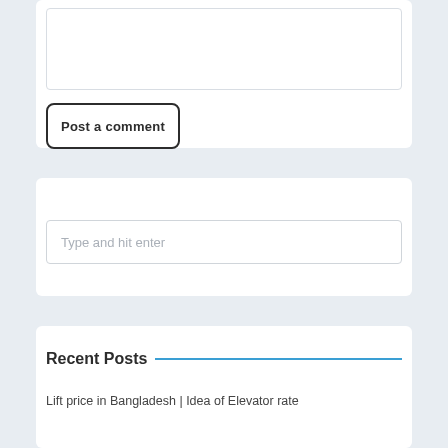Post a comment
Type and hit enter
Recent Posts
Lift price in Bangladesh | Idea of Elevator rate